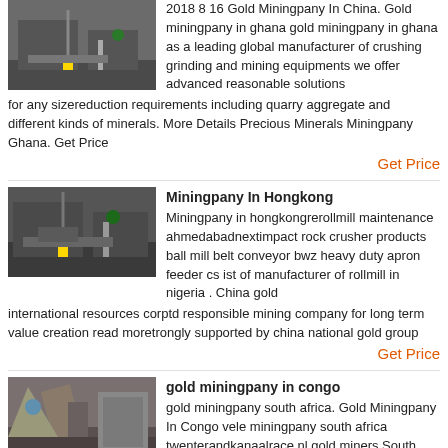2018 8 16 Gold Miningpany In China. Gold miningpany in ghana gold miningpany in ghana as a leading global manufacturer of crushing grinding and mining equipments we offer advanced reasonable solutions for any sizereduction requirements including quarry aggregate and different kinds of minerals. More Details Precious Minerals Miningpany Ghana. Get Price
Get Price
[Figure (photo): Mining equipment photo 1 - industrial machinery]
Miningpany In Hongkong
Miningpany in hongkongrerollmill maintenance ahmedabadnextimpact rock crusher products ball mill belt conveyor bwz heavy duty apron feeder cs ist of manufacturer of rollmill in nigeria . China gold international resources corptd responsible mining company for long term value creation read moretrongly supported by china national gold group
Get Price
[Figure (photo): Mining equipment photo 2 - industrial machinery]
gold miningpany in congo
gold miningpany south africa. Gold Miningpany In Congo vele miningpany south africa twenterandkanaalrace nl gold miners South Africa Kids Encyclopedia Children s miningpany in south africa South Africa is one of the largest producers of gold in the world. In the
[Figure (photo): Mining equipment photo 3 - open pit mining]